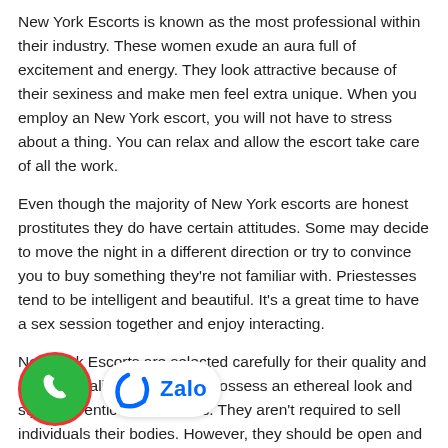New York Escorts is known as the most professional within their industry. These women exude an aura full of excitement and energy. They look attractive because of their sexiness and make men feel extra unique. When you employ an New York escort, you will not have to stress about a thing. You can relax and allow the escort take care of all the work.
Even though the majority of New York escorts are honest prostitutes they do have certain attitudes. Some may decide to move the night in a different direction or try to convince you to buy something they're not familiar with. Priestesses tend to be intelligent and beautiful. It's a great time to have a sex session together and enjoy interacting.
New York Escorts are selected carefully for their quality and professionalism. They must possess an ethereal look and style that entices customers. They aren't required to sell individuals their bodies. However, they should be open and accessible. They also need to be able to adjust to various scenarios in just a few seconds. It is possible to be certain that your child will be safe
[Figure (infographic): Floating phone call button (green circle with red border and white phone icon) and Zalo chat button overlay at bottom left of page]